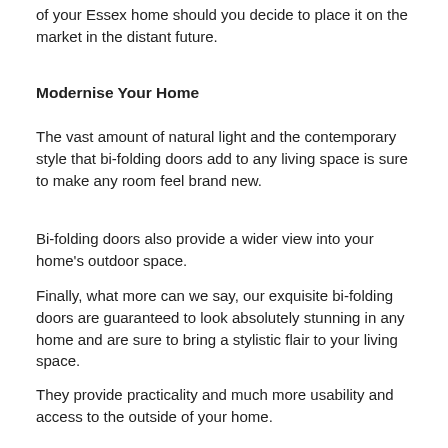of your Essex home should you decide to place it on the market in the distant future.
Modernise Your Home
The vast amount of natural light and the contemporary style that bi-folding doors add to any living space is sure to make any room feel brand new.
Bi-folding doors also provide a wider view into your home's outdoor space.
Finally, what more can we say, our exquisite bi-folding doors are guaranteed to look absolutely stunning in any home and are sure to bring a stylistic flair to your living space.
They provide practicality and much more usability and access to the outside of your home.